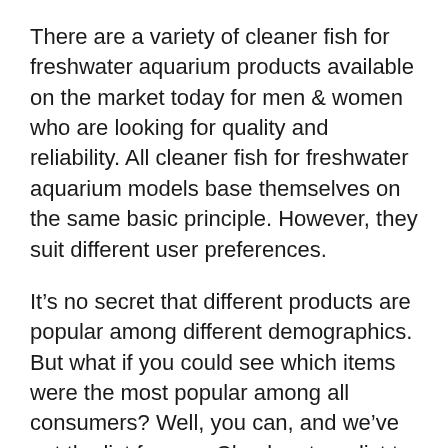There are a variety of cleaner fish for freshwater aquarium products available on the market today for men & women who are looking for quality and reliability. All cleaner fish for freshwater aquarium models base themselves on the same basic principle. However, they suit different user preferences.
It’s no secret that different products are popular among different demographics. But what if you could see which items were the most popular among all consumers? Well, you can, and we’ve got the list for you. Check out our list to select products that everyone seems to love, regardless of their age, gender, or location.